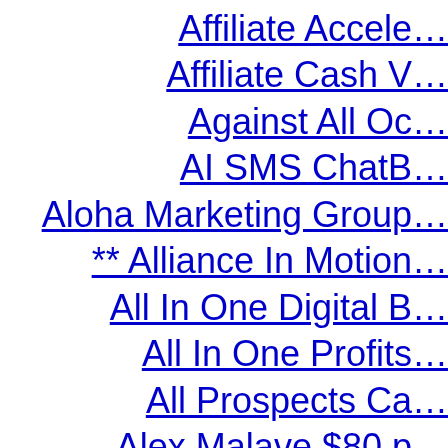Affiliate Accele…
Affiliate Cash V…
Against All Oc…
AI SMS ChatB…
Aloha Marketing Group…
** Alliance In Motion…
All In One Digital B…
All In One Profits…
All Prospects Ca…
Alex Malave $80 p…
AliveMax Vitamin…